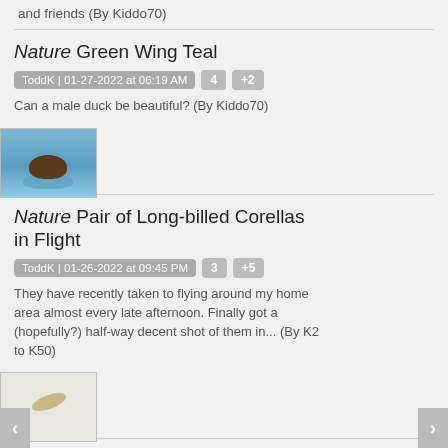and friends (By Kiddo70)
Nature Green Wing Teal
ToddK | 01-27-2022 at 06:19 AM   4   +2
Can a male duck be beautiful? (By Kiddo70)
[Figure (photo): Thumbnail photo of a Green Wing Teal duck on water]
Nature Pair of Long-billed Corellas in Flight
ToddK | 01-26-2022 at 09:45 PM   3   +5
They have recently taken to flying around my home area almost every late afternoon. Finally got a (hopefully?) half-way decent shot of them in... (By K2 to K50)
[Figure (photo): Thumbnail photo of Long-billed Corellas in flight]
Landscape Quebec City seen from the western tip of Isle d'Orleans. HD DA 16-85 mm @ 26 mm f/11.
angkymac | 01-26-2022 at 09:20 PM   2   +1
[Figure (photo): Thumbnail landscape photo of Quebec City from Isle d'Orleans]